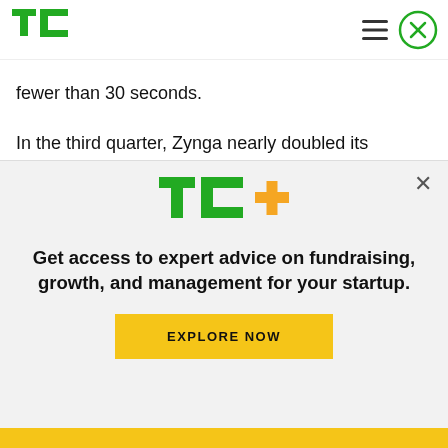[Figure (logo): TechCrunch TC logo in green, top left header]
fewer than 30 seconds.
In the third quarter, Zynga nearly doubled its advertising revenue over the prior-year period, said Gibeau, attributing its success to Rollic, an Istanbul-based game studio that Zynga acquired a year ago that helped it become a top-three publisher in the
[Figure (logo): TC+ logo with green TC and orange plus sign]
Get access to expert advice on fundraising, growth, and management for your startup.
EXPLORE NOW